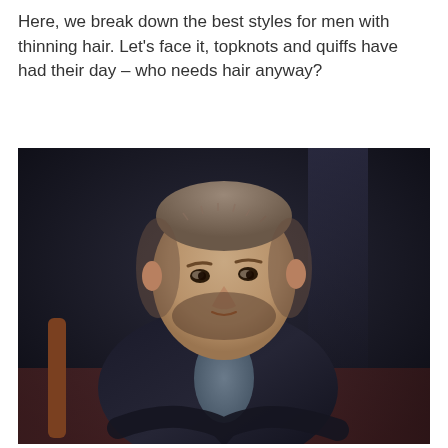Here, we break down the best styles for men with thinning hair. Let's face it, topknots and quiffs have had their day – who needs hair anyway?
[Figure (photo): A man with short thinning hair and a beard, wearing a dark leather jacket, seated and looking toward the camera against a dark blurred background.]